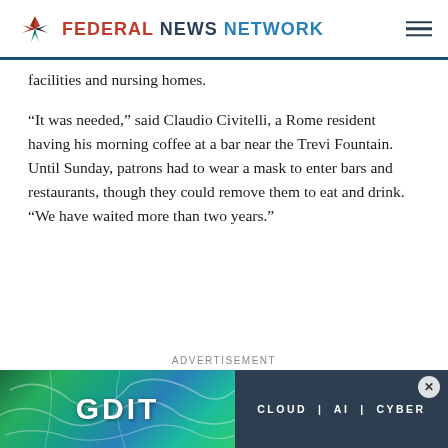FEDERAL NEWS NETWORK
facilities and nursing homes.
“It was needed,” said Claudio Civitelli, a Rome resident having his morning coffee at a bar near the Trevi Fountain. Until Sunday, patrons had to wear a mask to enter bars and restaurants, though they could remove them to eat and drink. “We have waited more than two years.”
ADVERTISEMENT
[Figure (photo): GDIT advertisement banner: CLOUD | AI | CYBER]